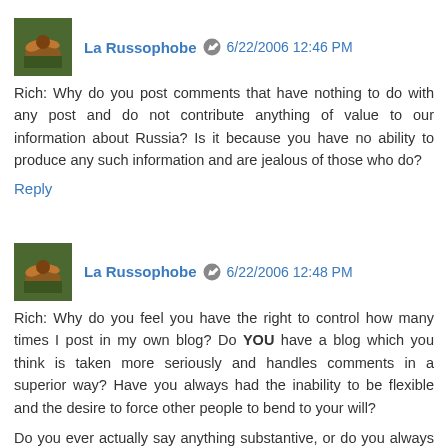La Russophobe  6/22/2006 12:46 PM
Rich: Why do you post comments that have nothing to do with any post and do not contribute anything of value to our information about Russia? Is it because you have no ability to produce any such information and are jealous of those who do?
Reply
La Russophobe  6/22/2006 12:48 PM
Rich: Why do you feel you have the right to control how many times I post in my own blog? Do YOU have a blog which you think is taken more seriously and handles comments in a superior way? Have you always had the inability to be flexible and the desire to force other people to bend to your will?
Do you ever actually say anything substantive, or do you always confine yourself to generalised ad hominem personal attacks, even while complaining that others